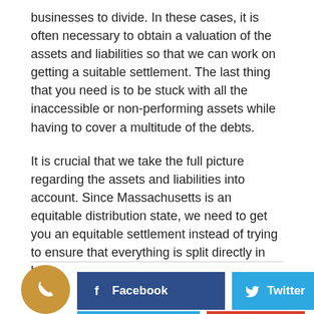businesses to divide. In these cases, it is often necessary to obtain a valuation of the assets and liabilities so that we can work on getting a suitable settlement. The last thing that you need is to be stuck with all the inaccessible or non-performing assets while having to cover a multitude of the debts.
It is crucial that we take the full picture regarding the assets and liabilities into account. Since Massachusetts is an equitable distribution state, we need to get you an equitable settlement instead of trying to ensure that everything is split directly in half.
[Figure (other): Social sharing buttons: a gold phone icon circle, a dark blue Facebook button, and a light blue Twitter button with bird icon]